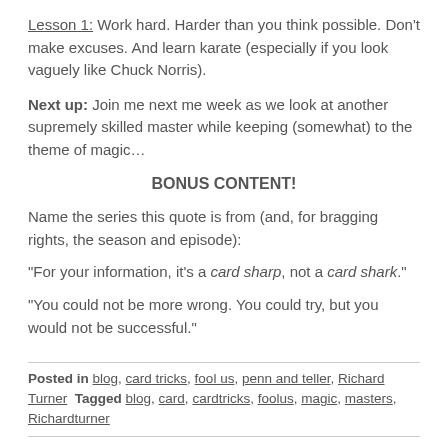Lesson 1: Work hard. Harder than you think possible. Don't make excuses. And learn karate (especially if you look vaguely like Chuck Norris).
Next up: Join me next me week as we look at another supremely skilled master while keeping (somewhat) to the theme of magic…
BONUS CONTENT!
Name the series this quote is from (and, for bragging rights, the season and episode):
“For your information, it’s a card sharp, not a card shark.”
“You could not be more wrong. You could try, but you would not be successful.”
Posted in blog, card tricks, fool us, penn and teller, Richard Turner  Tagged blog, card, cardtricks, foolus, magic, masters, Richardturner